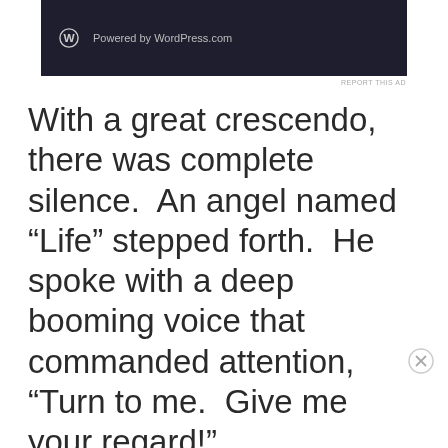[Figure (screenshot): WordPress.com advertisement banner with dark background showing WordPress logo and 'Powered by WordPress.com' text]
REPORT THIS AD
With a great crescendo, there was complete silence.  An angel named “Life” stepped forth.  He spoke with a deep booming voice that commanded attention, “Turn to me.  Give me your regard!”
Advertisements
[Figure (screenshot): DuckDuckGo advertisement: 'Search, browse, and email with more privacy. All in One Free App' with DuckDuckGo logo on dark background]
REPORT THIS AD